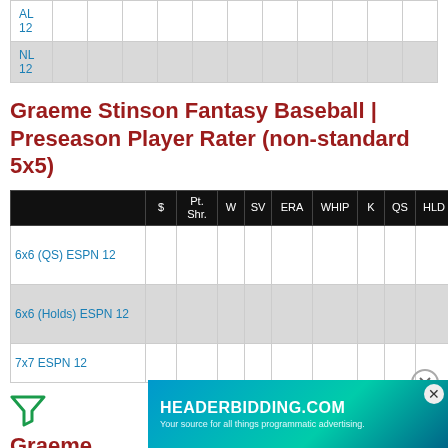|  | $ | Pt. Shr. | W | SV | ERA | WHIP | K | QS | HLD | Pos Rk | Tot Rk |
| --- | --- | --- | --- | --- | --- | --- | --- | --- | --- | --- | --- |
| AL 12 |  |  |  |  |  |  |  |  |  |  |  |
| NL 12 |  |  |  |  |  |  |  |  |  |  |  |
Graeme Stinson Fantasy Baseball | Preseason Player Rater (non-standard 5x5)
|  | $ | Pt. Shr. | W | SV | ERA | WHIP | K | QS | HLD | Pos Rk | Tot Rk |
| --- | --- | --- | --- | --- | --- | --- | --- | --- | --- | --- | --- |
| 6x6 (QS) ESPN 12 |  |  |  |  |  |  |  |  |  |  |  |
| 6x6 (Holds) ESPN 12 |  |  |  |  |  |  |  |  |  |  |  |
| 7x7 ESPN 12 |  |  |  |  |  |  |  |  |  |  |  |
Graeme